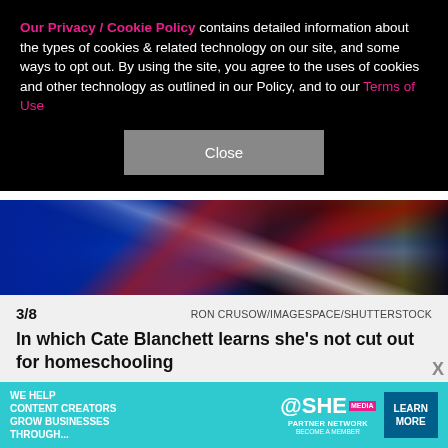Our Privacy / Cookie Policy contains detailed information about the types of cookies & related technology on our site, and some ways to opt out. By using the site, you agree to the uses of cookies and other technology as outlined in our Policy, and to our Terms of Use
Close
[Figure (photo): Colorful image with blue, red, and white diagonal streaks on dark background, appears to be graduation gowns or flags]
3/8   RON CRUSOW/IMAGESPACE/SHUTTERSTOCK
In which Cate Blanchett learns she's not cut out for homeschooling
Cate Blanchett has nothing but admiration for teachers after school closures during the COVID-19 pandemic forced the Oscar-winner to homeschool her 7-year-old — an experience she jokingly described as "traumatic
[Figure (infographic): Advertisement banner: SHE Partner Network - We help content creators grow businesses through... LEARN MORE. Become a member.]